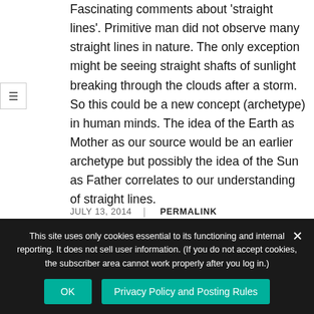Fascinating comments about 'straight lines'. Primitive man did not observe many straight lines in nature. The only exception might be seeing straight shafts of sunlight breaking through the clouds after a storm. So this could be a new concept (archetype) in human minds. The idea of the Earth as Mother as our source would be an earlier archetype but possibly the idea of the Sun as Father correlates to our understanding of straight lines.
JULY 13, 2014 | PERMALINK
This comment partially tells...
This site uses only cookies essential to its functioning and internal reporting. It does not sell user information. (If you do not accept cookies, the subscriber area cannot work properly after you log in.)